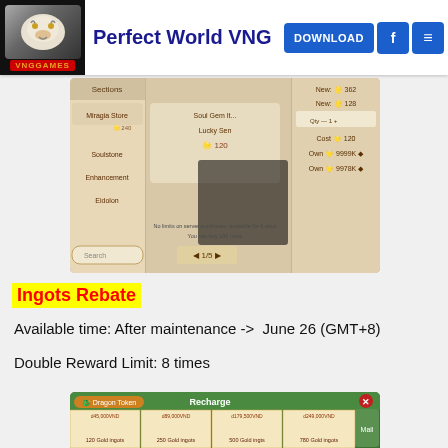Perfect World VNG | DOWNLOAD | f | ≡
[Figure (screenshot): In-game store screenshot showing Miragia Store, Soulstone, Enhancement, Eidolon menus with Lucky Sen item costing 120 gold, quantity 1, Own 9999K and 9978K]
Ingots Rebate
Available time: After maintenance ->  June 26 (GMT+8)
Double Reward Limit: 8 times
[Figure (screenshot): Recharge interface showing Gold Ingots packages: 45,000VND=120 Gold ingots, 89,000VND=250 Gold ingots, 179,500VND=500 Gold ingts, 249,000VND=780 Gold ingots, and more packages starting at 349,000VND, 2009,000VND, 1,499,000VND, 2,199,000VND]